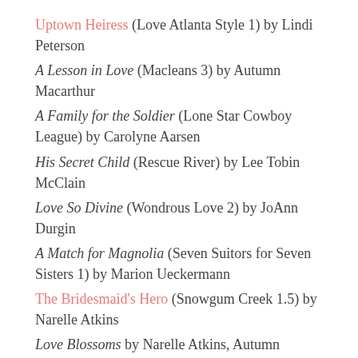Uptown Heiress (Love Atlanta Style 1) by Lindi Peterson
A Lesson in Love (Macleans 3) by Autumn Macarthur
A Family for the Soldier (Lone Star Cowboy League) by Carolyne Aarsen
His Secret Child (Rescue River) by Lee Tobin McClain
Love So Divine (Wondrous Love 2) by JoAnn Durgin
A Match for Magnolia (Seven Suitors for Seven Sisters 1) by Marion Ueckermann
The Bridesmaid's Hero (Snowgum Creek 1.5) by Narelle Atkins
Love Blossoms by Narelle Atkins, Autumn Macarthur, Lynette Sowell, Marion Ueckermann, Kimberly Rae Jordan, Jan Thompson, and Susette Williams